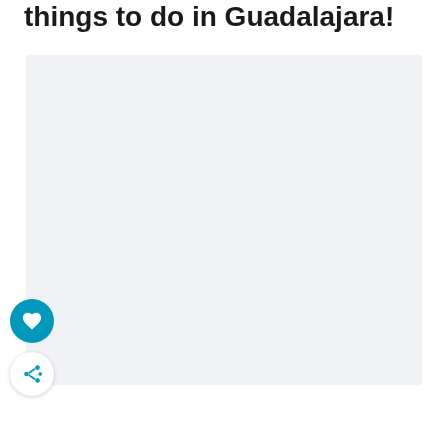things to do in Guadalajara!
[Figure (photo): Large light gray placeholder image box for a photo related to things to do in Guadalajara]
[Figure (other): Circular teal heart/favorite button icon]
[Figure (other): Circular white share button icon with share symbol and plus sign]